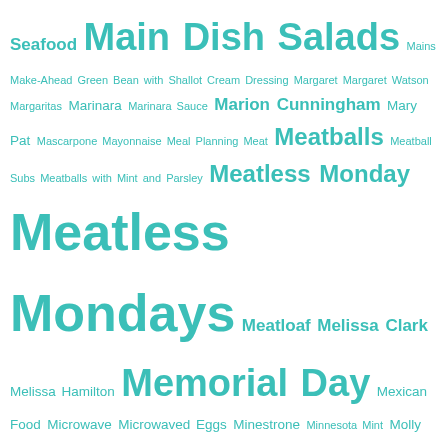[Figure (infographic): Tag cloud with words of varying sizes in teal/turquoise color. Larger words appear more frequently or are more significant. Words include: Seafood, Main Dish Salads, Mains, Make-Ahead, Green Bean with Shallot Cream Dressing, Margaret, Margaret Watson, Margaritas, Marinara, Marinara Sauce, Marion Cunningham, Mary Pat, Mascarpone, Mayonnaise, Meal Planning, Meat, Meatballs, Meatball Subs, Meatballs with Mint and Parsley, Meatless Monday, Meatless Mondays, Meatloaf, Melissa Clark, Melissa Hamilton, Memorial Day, Mexican Food, Microwave, Microwaved Eggs, Minestrone, Minnesota, Mint, Molly O'Neill, Moondance, Moroccan Carrot Salad, Mother's Day, Moving, Mozzarella, Mozzerella, Muffins, Multi Cookers, Mushroom Ragu on Gruyere Toast, Mushrooms, Mustard-taragon Vinaigrette, Newman, Newtown, New Year's, Nicoise, Nigella Lawson, Noah, Noodles, November, Nuts, Oatmeal, Oats, October, Olives, Olivia, Omelet, Omelets, Omelettes, One-Pot Meals, One Pan Dinners, Onions, On Vacation, Open House, Orange, and more.]